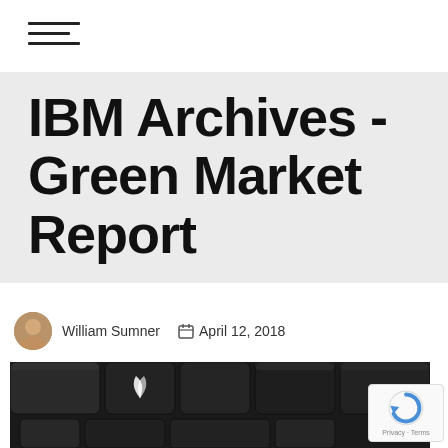≡ (hamburger menu icon)
IBM Archives - Green Market Report
William Sumner   April 12, 2018
[Figure (photo): Close-up photo of dark/black keyboard keys, one featuring a white leaf/plant logo, on a dark background]